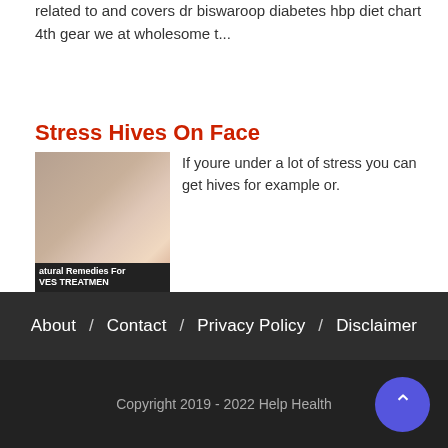related to and covers dr biswaroop diabetes hbp diet chart 4th gear we at wholesome t...
Stress Hives On Face
[Figure (photo): Thumbnail image with text overlay reading 'Natural Remedies For HIVES TREATMENT']
If youre under a lot of stress you can get hives for example or. Whether the cause is chemical hormonal or simply a latent skin condition t...
Blog Archive
September (8)
About / Contact / Privacy Policy / Disclaimer
Copyright 2019 - 2022 Help Health